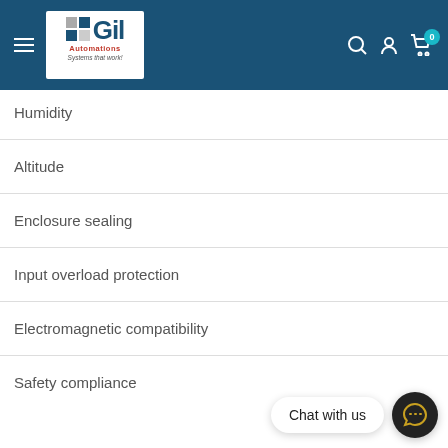Gil Automations - Systems that work!
Humidity
Altitude
Enclosure sealing
Input overload protection
Electromagnetic compatibility
Safety compliance